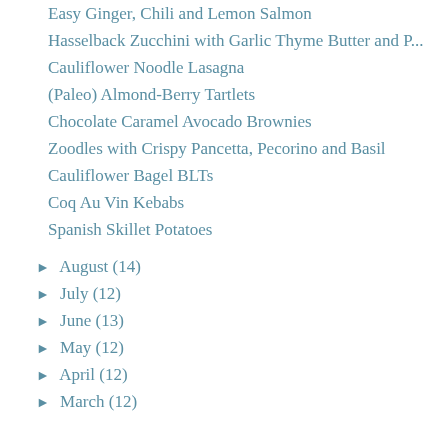Easy Ginger, Chili and Lemon Salmon
Hasselback Zucchini with Garlic Thyme Butter and P...
Cauliflower Noodle Lasagna
(Paleo) Almond-Berry Tartlets
Chocolate Caramel Avocado Brownies
Zoodles with Crispy Pancetta, Pecorino and Basil
Cauliflower Bagel BLTs
Coq Au Vin Kebabs
Spanish Skillet Potatoes
► August (14)
► July (12)
► June (13)
► May (12)
► April (12)
► March (12)